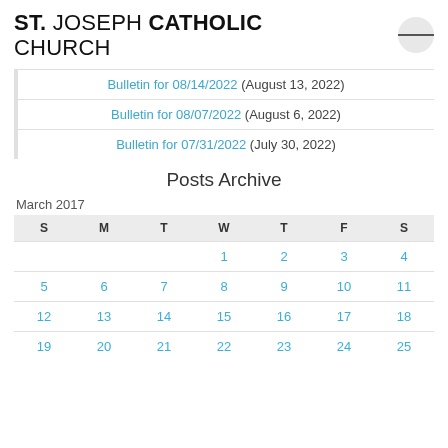ST. JOSEPH CATHOLIC CHURCH
Bulletin for 08/14/2022 (August 13, 2022)
Bulletin for 08/07/2022 (August 6, 2022)
Bulletin for 07/31/2022 (July 30, 2022)
Posts Archive
| S | M | T | W | T | F | S |
| --- | --- | --- | --- | --- | --- | --- |
|  |  |  | 1 | 2 | 3 | 4 |
| 5 | 6 | 7 | 8 | 9 | 10 | 11 |
| 12 | 13 | 14 | 15 | 16 | 17 | 18 |
| 19 | 20 | 21 | 22 | 23 | 24 | 25 |